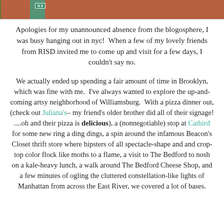[Figure (photo): Partial photo of a brick building and street scene in NYC, with a green street sign visible]
Apologies for my unannounced absence from the blogosphere, I was busy hanging out in nyc!  When a few of my lovely friends from RISD invited me to come up and visit for a few days, I couldn't say no.
We actually ended up spending a fair amount of time in Brooklyn, which was fine with me.  I've always wanted to explore the up-and-coming artsy neighborhood of Williamsburg.  With a pizza dinner out, (check out Juliana's– my friend's older brother did all of their signage! ....oh and their pizza is delicious), a (nonnegotiable) stop at Catbird for some new ring a ding dings, a spin around the infamous Beacon's Closet thrift store where hipsters of all spectacle-shape and and crop-top color flock like moths to a flame, a visit to The Bedford to nosh on a kale-heavy lunch, a walk around The Bedford Cheese Shop, and a few minutes of ogling the cluttered constellation-like lights of Manhattan from across the East River, we covered a lot of bases.